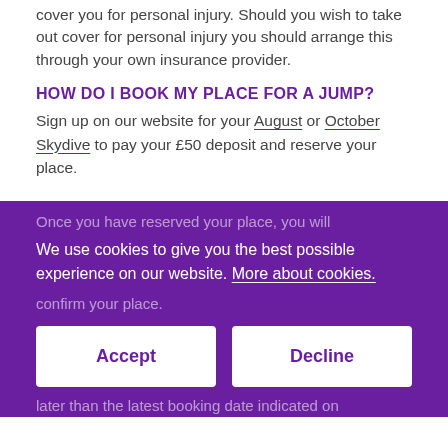cover you for personal injury. Should you wish to take out cover for personal injury you should arrange this through your own insurance provider.
HOW DO I BOOK MY PLACE FOR A JUMP?
Sign up on our website for your August or October Skydive to pay your £50 deposit and reserve your place.
Once you have reserved your place, you will
We use cookies to give you the best possible experience on our website. More about cookies.
confirm your place.
Accept
Decline
later than the latest booking date indicated on